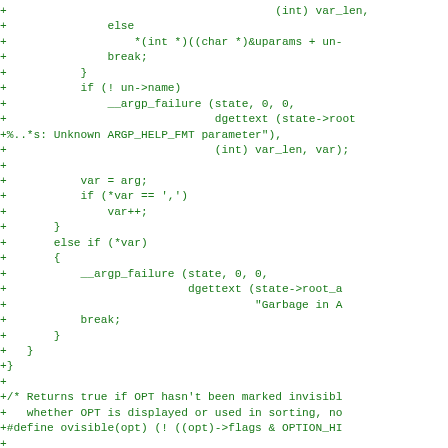Code diff showing C source additions including argp_failure calls, variable assignments, and macro definitions for ovisible